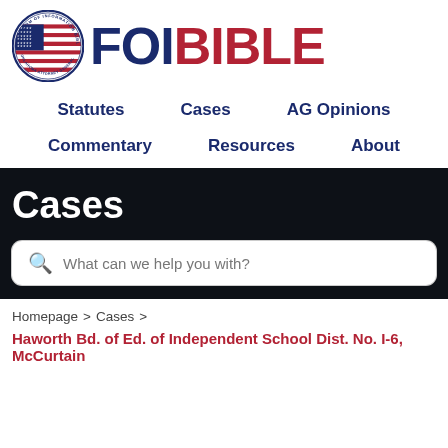[Figure (logo): FOI Bible logo with American flag circle seal and bold text 'FOIBIBLE' in navy and red]
Statutes    Cases    AG Opinions    Commentary    Resources    About
Cases
What can we help you with?
Homepage > Cases >
Haworth Bd. of Ed. of Independent School Dist. No. I-6, McCurtain